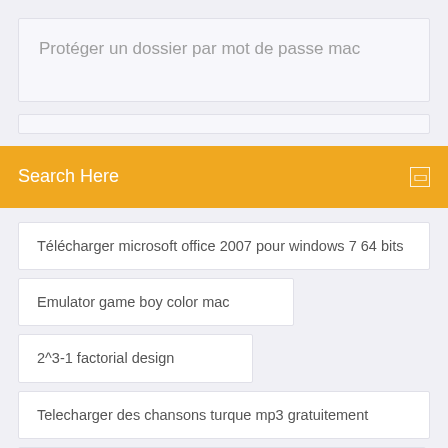Protéger un dossier par mot de passe mac
Search Here
Télécharger microsoft office 2007 pour windows 7 64 bits
Emulator game boy color mac
2^3-1 factorial design
Telecharger des chansons turque mp3 gratuitement
Regarder toutes les chaines gratuitement sur iphone